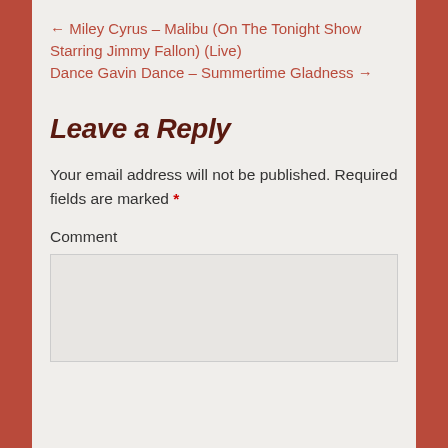← Miley Cyrus – Malibu (On The Tonight Show Starring Jimmy Fallon) (Live)
Dance Gavin Dance – Summertime Gladness →
Leave a Reply
Your email address will not be published. Required fields are marked *
Comment